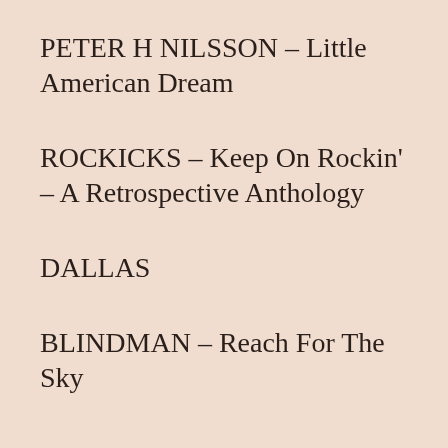PETER H NILSSON – Little American Dream
ROCKICKS – Keep On Rockin' – A Retrospective Anthology
DALLAS
BLINDMAN – Reach For The Sky